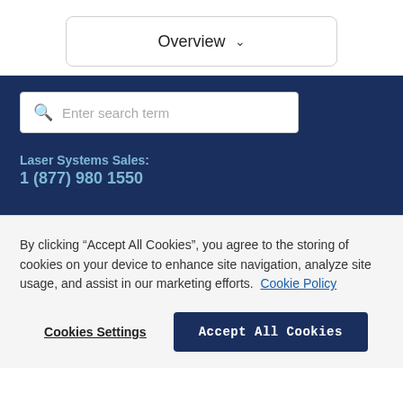Overview
Enter search term
Laser Systems Sales:
1 (877) 980 1550
By clicking “Accept All Cookies”, you agree to the storing of cookies on your device to enhance site navigation, analyze site usage, and assist in our marketing efforts. Cookie Policy
Cookies Settings
Accept All Cookies